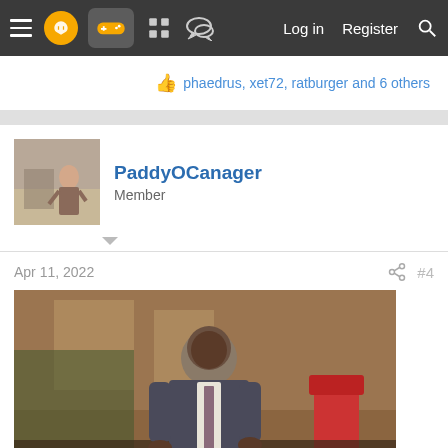Navigation bar with hamburger menu, logo, gamepad icon, grid icon, chat icon, Log in, Register, Search
phaedrus, xet72, ratburger and 6 others
PaddyOCanager
Member
Apr 11, 2022  #4
[Figure (photo): Meme image of a man in a suit with the caption 'you love to see it.' with NBC logo visible in the bottom left corner.]